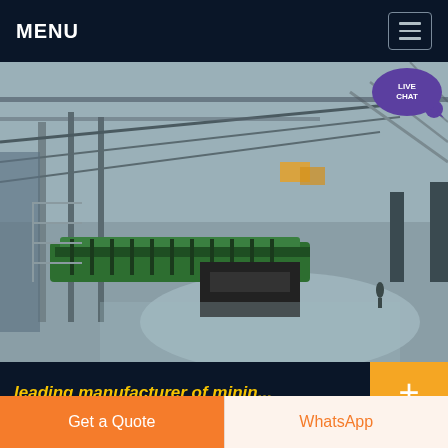MENU
[Figure (photo): Aerial view of a large industrial mining or manufacturing facility interior showing heavy machinery, green conveyor systems, structural steel framework, and a wide factory floor.]
leading manufacturer of minin...
raw grinding mills from fujairah ; second hand skd nw portable crusher plant; jaw stone
Get a Quote
WhatsApp